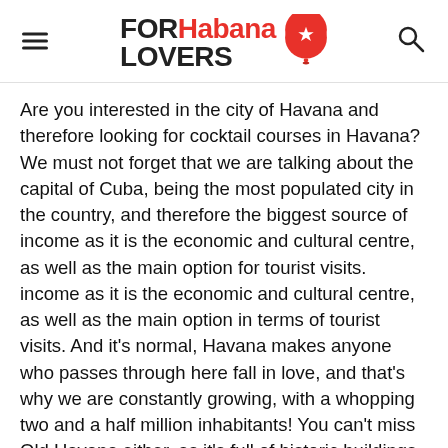FOR Habana LOVERS
Are you interested in the city of Havana and therefore looking for cocktail courses in Havana? We must not forget that we are talking about the capital of Cuba, being the most populated city in the country, and therefore the biggest source of income as it is the economic and cultural centre, as well as the main option for tourist visits. income as it is the economic and cultural centre, as well as the main option in terms of tourist visits. And it's normal, Havana makes anyone who passes through here fall in love, and that's why we are constantly growing, with a whopping two and a half million inhabitants! You can't miss Old Havana either, as it's full of historic buildings that reflect the mixture of architectures that exist here. At forlahavanaluvers.com you will find all kinds of